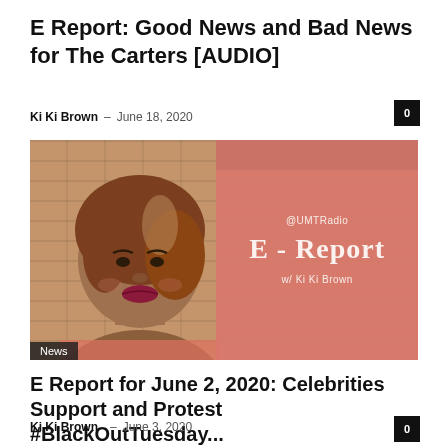E Report: Good News and Bad News for The Carters [AUDIO]
Ki Ki Brown – June 18, 2020
[Figure (photo): Photo of Ki Ki Brown smiling against a brick wall background, with a pink panel overlay showing '@UMTRadio' and 'E - Report w/ Ki Ki Brown' branding. A 'News' badge appears in the bottom-left corner.]
E Report for June 2, 2020: Celebrities Support and Protest #BlackOutTuesday...
Ki Ki Brown – June 3, 2020